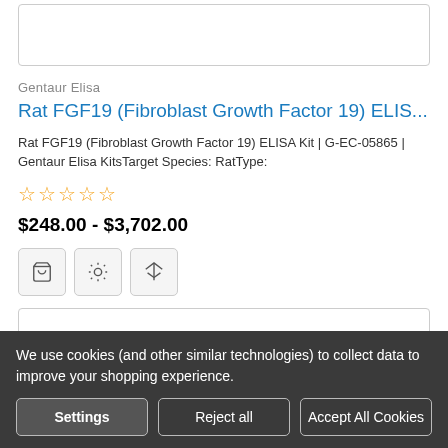[Figure (photo): Top portion of a product image box (partially visible)]
Gentaur Elisa
Rat FGF19 (Fibroblast Growth Factor 19) ELIS...
Rat FGF19 (Fibroblast Growth Factor 19) ELISA Kit | G-EC-05865 | Gentaur Elisa KitsTarget Species: RatType:
☆ ☆ ☆ ☆ ☆
$248.00 - $3,702.00
[Figure (screenshot): Three icon buttons: shopping cart, settings/configure, and compare/balance scale]
[Figure (photo): Bottom product image box with blue circle element partially visible]
We use cookies (and other similar technologies) to collect data to improve your shopping experience.
Settings  Reject all  Accept All Cookies